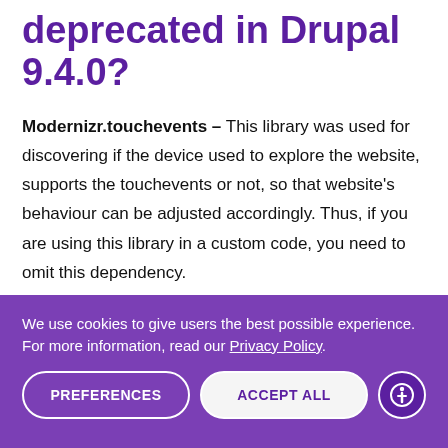deprecated in Drupal 9.4.0?
Modernizr.touchevents – This library was used for discovering if the device used to explore the website, supports the touchevents or not, so that website's behaviour can be adjusted accordingly. Thus, if you are using this library in a custom code, you need to omit this dependency.
We use cookies to give users the best possible experience. For more information, read our Privacy Policy.
PREFERENCES | ACCEPT ALL